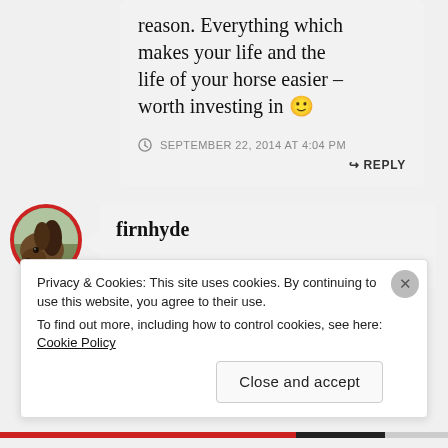reason. Everything which makes your life and the life of your horse easier – worth investing in 🙂
SEPTEMBER 22, 2014 AT 4:04 PM
↪ REPLY
firnhyde
Privacy & Cookies: This site uses cookies. By continuing to use this website, you agree to their use. To find out more, including how to control cookies, see here: Cookie Policy
Close and accept